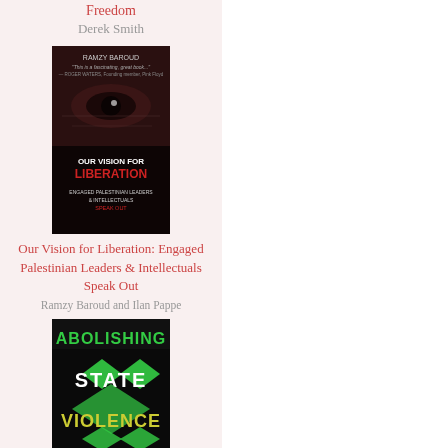Freedom
Derek Smith
[Figure (illustration): Book cover: Our Vision for Liberation: Engaged Palestinian Leaders & Intellectuals Speak Out by Ramzy Baroud and Ilan Pappe. Dark cover with close-up of an eye and text overlay.]
Our Vision for Liberation: Engaged Palestinian Leaders & Intellectuals Speak Out
Ramzy Baroud and Ilan Pappe
[Figure (illustration): Book cover: Abolishing State Violence: A World Beyond Bombs, Borders, and Cages by Ray Acheson. Black cover with bold green and yellow text.]
Abolishing State Violence: A